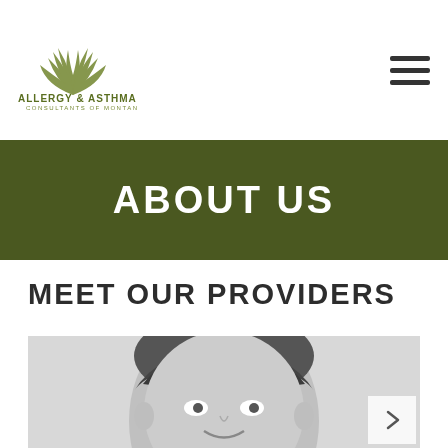Allergy & Asthma Consultants of Montana
ABOUT US
MEET OUR PROVIDERS
[Figure (photo): Black and white professional headshot of a male doctor/provider, middle-aged, with curly/wavy hair, smiling slightly, against a light gray background.]